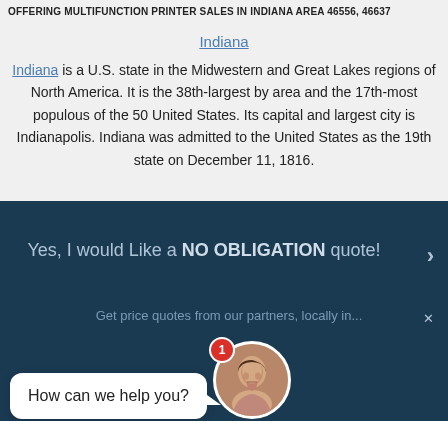OFFERING MULTIFUNCTION PRINTER SALES IN INDIANA AREA 46556, 46637
Indiana
Indiana is a U.S. state in the Midwestern and Great Lakes regions of North America. It is the 38th-largest by area and the 17th-most populous of the 50 United States. Its capital and largest city is Indianapolis. Indiana was admitted to the United States as the 19th state on December 11, 1816.
[Figure (screenshot): Dark blue banner section with text 'Yes, I would Like a NO OBLIGATION quote!' and a chat widget showing 'How can we help you?' with a female avatar and red notification badge showing '1'.]